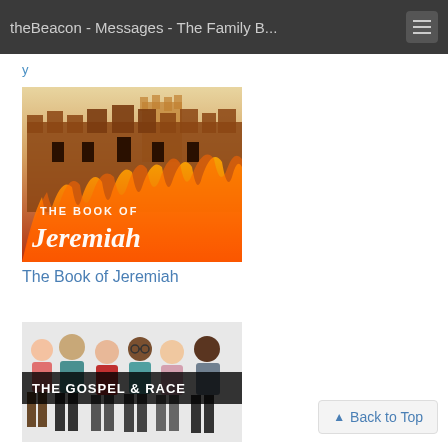theBeacon - Messages - The Family B...
y
[Figure (illustration): Book cover illustration showing a castle with flames in front, text reads THE BOOK OF Jeremiah]
The Book of Jeremiah
[Figure (illustration): Illustrated cover showing diverse group of people with text THE GOSPEL & RACE]
Back to Top